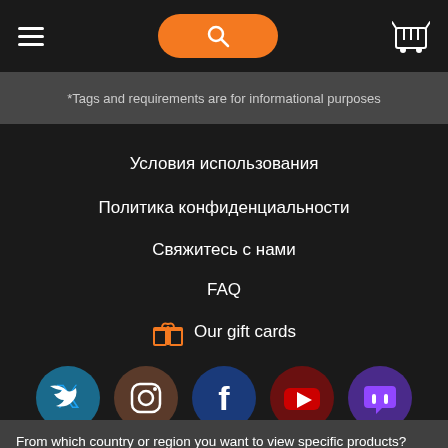Navigation header with hamburger menu, search button, and cart icon
*Tags and requirements are for informational purposes
Условия использования
Политика конфиденциальности
Свяжитесь с нами
FAQ
Our gift cards
[Figure (illustration): Social media icons row: Twitter, Instagram, Facebook, YouTube, Twitch]
From which country or region you want to view specific products?
United States
Submit